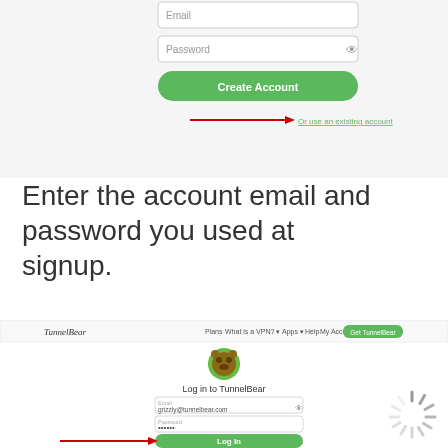[Figure (screenshot): Top portion of TunnelBear signup webpage showing Email and Password input fields, a green 'Create Account' button, and a red arrow pointing to 'Or use an existing account' link]
Enter the account email and password you used at signup.
[Figure (screenshot): TunnelBear login page screenshot showing the TunnelBear logo/navigation bar at top, bear avatar icon, 'Log in to TunnelBear' heading, email field with grizzly@tunnelbear.com, password field, and a red arrow pointing to the green 'Log In' button]
[Figure (other): Loading spinner animation icon in gray, positioned at bottom right]